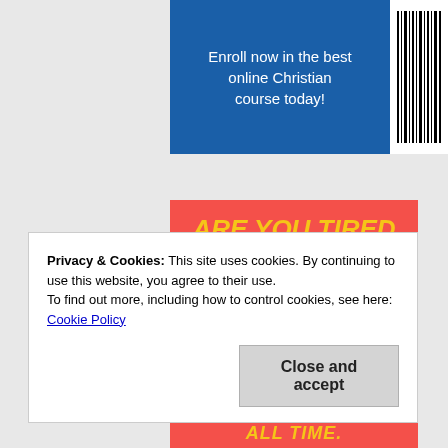[Figure (infographic): Blue banner with white text saying 'Enroll now in the best online Christian course today!' with a barcode on the right side]
[Figure (infographic): Red/coral banner with bold yellow italic text reading 'ARE YOU TIRED OF BORING AND USELESS BOOKS?']
[Figure (infographic): Bottom portion of red banner with yellow text 'ALL TIME.']
Privacy & Cookies: This site uses cookies. By continuing to use this website, you agree to their use.
To find out more, including how to control cookies, see here: Cookie Policy
Close and accept